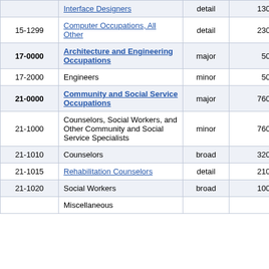| Code | Title | Level | Num | Pct |
| --- | --- | --- | --- | --- |
| 15-1299 | Computer Occupations, All Other | detail | 230 | 39.4% |
| 17-0000 | Architecture and Engineering Occupations | major | 50 | 16.3% |
| 17-2000 | Engineers | minor | 50 | 14.5% |
| 21-0000 | Community and Social Service Occupations | major | 760 | 6.4% |
| 21-1000 | Counselors, Social Workers, and Other Community and Social Service Specialists | minor | 760 | 6.4% |
| 21-1010 | Counselors | broad | 320 | 10.9% |
| 21-1015 | Rehabilitation Counselors | detail | 210 | 13.2% |
| 21-1020 | Social Workers | broad | 100 | 24.0% |
|  | Miscellaneous |  |  |  |